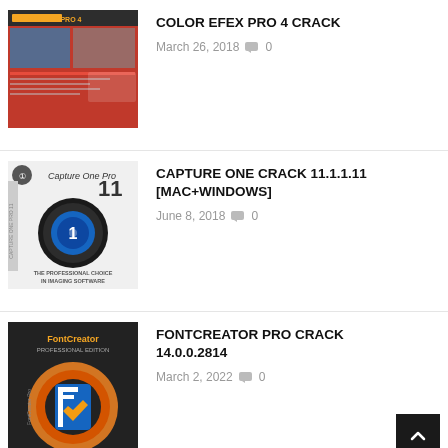[Figure (screenshot): Color Efex Pro 4 software box/screenshot thumbnail showing the product interface with red and dark tones]
COLOR EFEX PRO 4 CRACK
March 26, 2018  💬 0
[Figure (screenshot): Capture One Pro 11 software box showing a camera lens on white background with text 'The Professional Choice in Imaging Software']
CAPTURE ONE CRACK 11.1.1.11 [MAC+WINDOWS]
June 8, 2018  💬 0
[Figure (screenshot): FontCreator Professional Edition software box showing a blue 'F' letter logo on dark/orange background]
FONTCREATOR PRO CRACK 14.0.0.2814
March 2, 2022  💬 0